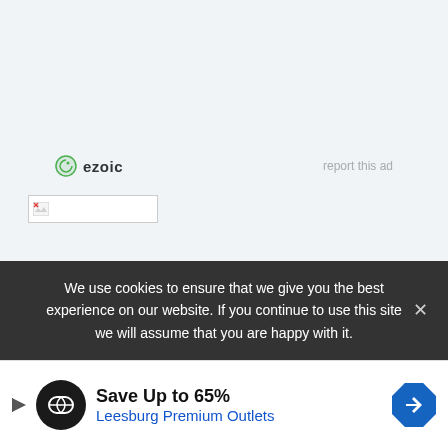[Figure (logo): Ezoic logo with green circular badge and 'ezoic' text, plus 'report this ad' link to the right]
[Figure (other): Broken image placeholder box with small broken image icon]
META
Log in
We use cookies to ensure that we give you the best experience on our website. If you continue to use this site we will assume that you are happy with it.
[Figure (infographic): Advertisement banner: Save Up to 65% Leesburg Premium Outlets with logo and navigation arrow badge]